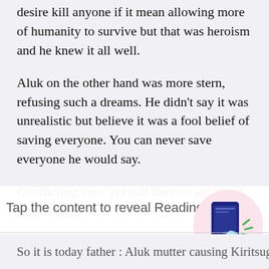desire kill anyone if it mean allowing more of humanity to survive but that was heroism and he knew it all well.
Aluk on the other hand was more stern, refusing such a dreams. He didn't say it was unrealistic but believe it was a fool belief of saving everyone. You can never save everyone he would say.
Conflicting view yet still the two get along surprisingly well.
[Figure (illustration): Reading Options UI overlay with text 'Tap the content to reveal Reading Options' and a circular pink illustrated icon of a hand tapping a phone/tablet screen]
So it is today father : Aluk mutter causing Kiritsugu